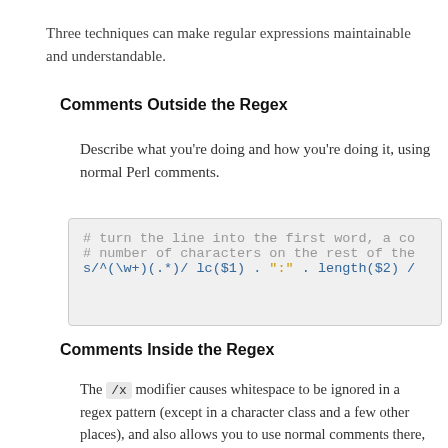Three techniques can make regular expressions maintainable and understandable.
Comments Outside the Regex
Describe what you're doing and how you're doing it, using normal Perl comments.
[Figure (screenshot): Code block showing: # turn the line into the first word, a co / # number of characters on the rest of the / s/^(\w+)(.*)/ lc($1) . ":" . length($2) /]
Comments Inside the Regex
The /x modifier causes whitespace to be ignored in a regex pattern (except in a character class and a few other places), and also allows you to use normal comments there, too. As you can imagine, whitespace and comments help a lot.
/x lets you turn this: